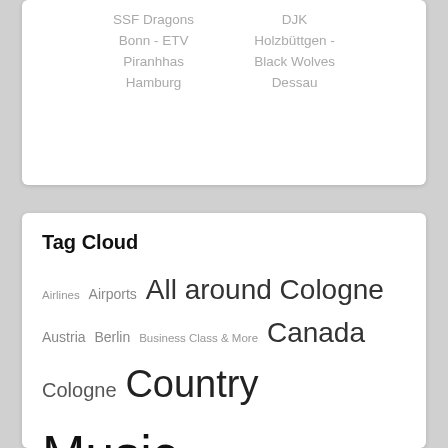SSF Dragons Bonn - ETV Piranhhas Hamburg | DJK Holzbüttgen - Black Wolves Dessau
Tag Cloud
Airlines Airports All around Cologne Austria Berlin Business Class & More Canada Cologne Country Music Debut EP / Album Dubai Eat & Drink EPs Finland Floorball Folk Music Free Entry German Artists German Schlager Germany Greater Los Angeles Hamburg Hard Rock & Metal Hilton Hotels Historic Museums Iceland Italy London Munich Music Legends Netherlands